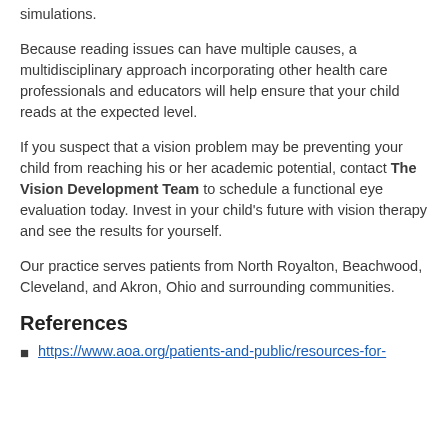simulations.
Because reading issues can have multiple causes, a multidisciplinary approach incorporating other health care professionals and educators will help ensure that your child reads at the expected level.
If you suspect that a vision problem may be preventing your child from reaching his or her academic potential, contact The Vision Development Team to schedule a functional eye evaluation today. Invest in your child's future with vision therapy and see the results for yourself.
Our practice serves patients from North Royalton, Beachwood, Cleveland, and Akron, Ohio and surrounding communities.
References
https://www.aoa.org/patients-and-public/resources-for-